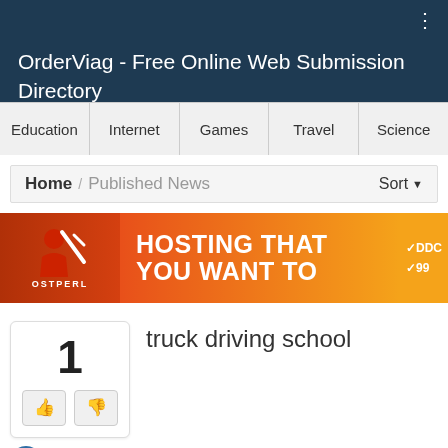OrderViag - Free Online Web Submission Directory
Education  Internet  Games  Travel  Science
Home / Published News   Sort
[Figure (other): Advertisement banner for a hosting service: HOSTING THAT YOU WANT TO, with a logo on the left showing a stylized figure and text OSTPERL]
truck driving school
claireulmans85  11 days ago  Internet  truck driving school